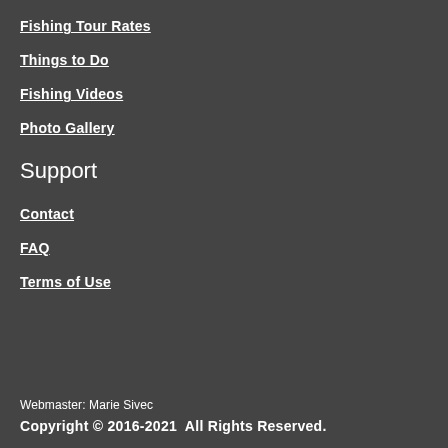Fishing Tour Rates
Things to Do
Fishing Videos
Photo Gallery
Support
Contact
FAQ
Terms of Use
Webmaster: Marie Sivec
Copyright © 2016-2021  All Rights Reserved.